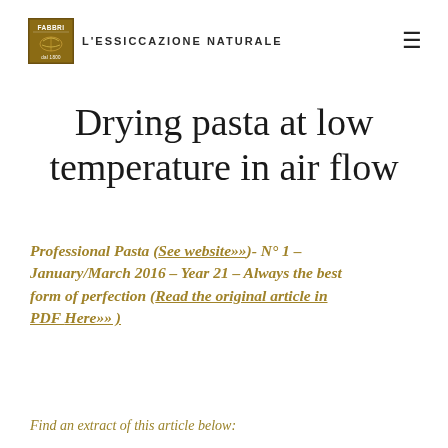FABBRI L'ESSICCAZIONE NATURALE
Drying pasta at low temperature in air flow
Professional Pasta (See website»»)- N° 1 – January/March 2016 – Year 21 – Always the best form of perfection (Read the original article in PDF Here»» )
Find an extract of this article below: